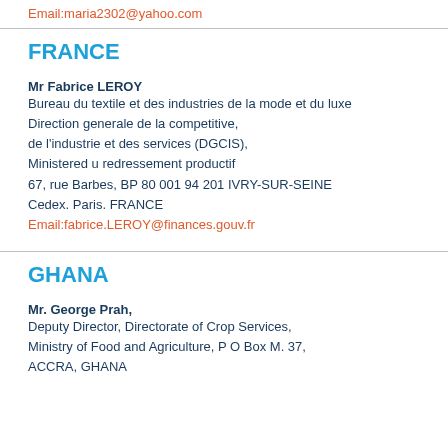Email:maria2302@yahoo.com
FRANCE
Mr Fabrice LEROY
Bureau du textile et des industries de la mode et du luxe
Direction generale de la competitive,
de l'industrie et des services (DGCIS),
Ministered u redressement productif
67, rue Barbes, BP 80 001 94 201 IVRY-SUR-SEINE
Cedex. Paris. FRANCE
Email:fabrice.LEROY@finances.gouv.fr
GHANA
Mr. George Prah,
Deputy Director, Directorate of Crop Services,
Ministry of Food and Agriculture, P O Box M. 37,
ACCRA, GHANA